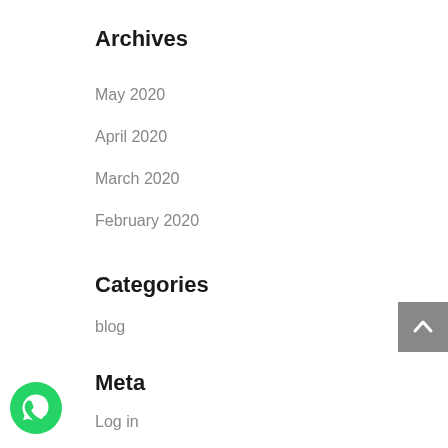Archives
May 2020
April 2020
March 2020
February 2020
Categories
blog
Meta
Log in
Entries feed
Comments feed
WordPress.org